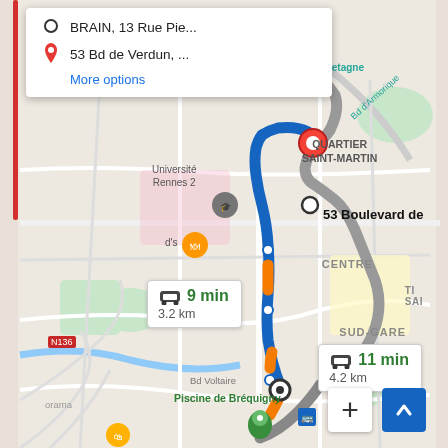[Figure (map): Google Maps screenshot showing driving directions in Rennes, France from BRAIN, 13 Rue Pie... to 53 Bd de Verdun. Two route options shown: blue highlighted route 9 min / 3.2 km, and grey alternate route 11 min / 4.2 km. Map shows Université Rennes 2, Quartier Saint-Martin, Centre, Sud-Gare, Bd Voltaire, Piscine de Bréquigny labels.]
BRAIN, 13 Rue Pie...
53 Bd de Verdun, ...
More options
9 min
3.2 km
11 min
4.2 km